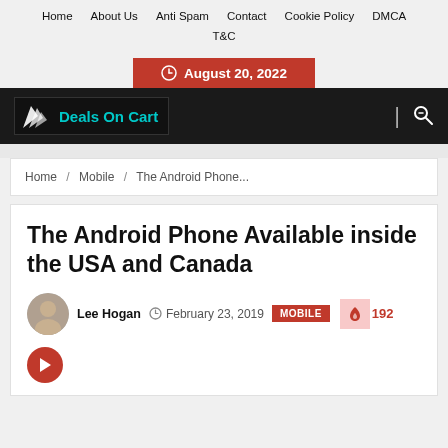Home  About Us  Anti Spam  Contact  Cookie Policy  DMCA  T&C
August 20, 2022
[Figure (logo): Deals On Cart logo with white wing graphic and teal text on dark background]
Home / Mobile / The Android Phone...
The Android Phone Available inside the USA and Canada
Lee Hogan  February 23, 2019  MOBILE  192